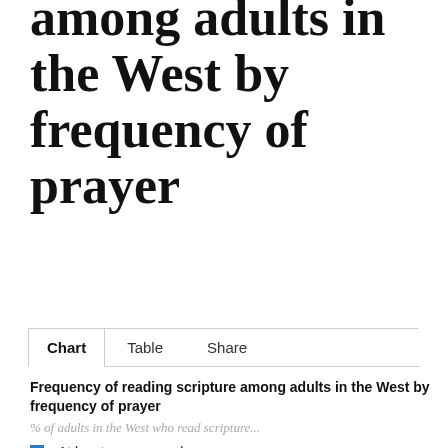among adults in the West by frequency of prayer
Chart	Table	Share
Frequency of reading scripture among adults in the West by frequency of prayer
% of adults in the West who read scripture...
At least once a week
Once or twice a month
Several times a year